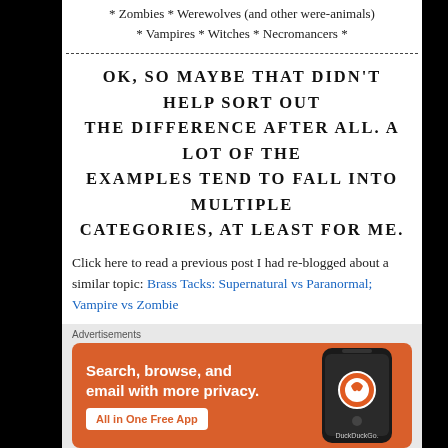* Zombies * Werewolves (and other were-animals) * Vampires * Witches * Necromancers *
OK, SO MAYBE THAT DIDN'T HELP SORT OUT THE DIFFERENCE AFTER ALL. A LOT OF THE EXAMPLES TEND TO FALL INTO MULTIPLE CATEGORIES, AT LEAST FOR ME.
Click here to read a previous post I had re-blogged about a similar topic: Brass Tacks: Supernatural vs Paranormal; Vampire vs Zombie
Advertisements
[Figure (other): DuckDuckGo advertisement banner: orange background with text 'Search, browse, and email with more privacy. All in One Free App' and a phone graphic with DuckDuckGo logo]